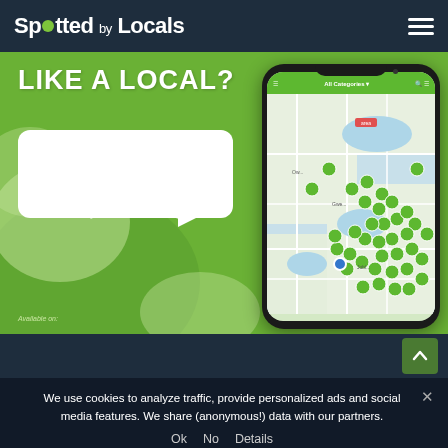Spotted by Locals
[Figure (screenshot): Spotted by Locals app promotional banner showing a smartphone with a city map with green location pins, a white speech bubble on a green background, and the text 'LIKE A LOCAL?' and 'Available on:']
We use cookies to analyze traffic, provide personalized ads and social media features. We share (anonymous!) data with our partners.
Ok  No  Details
SEE SPOTS NEARBY?
GET OUR 100% OFFLINE